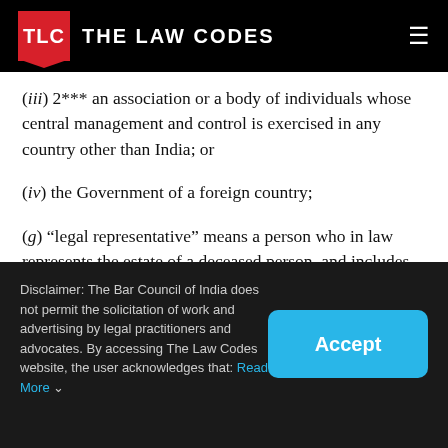THE LAW CODES
(iii) 2*** an association or a body of individuals whose central management and control is exercised in any country other than India; or
(iv) the Government of a foreign country;
(g) “legal representative” means a person who in law represents the estate of a deceased person, and includes any person who intermeddles with
Disclaimer: The Bar Council of India does not permit the solicitation of work and advertising by legal practitioners and advocates. By accessing The Law Codes website, the user acknowledges that: Read More ∨